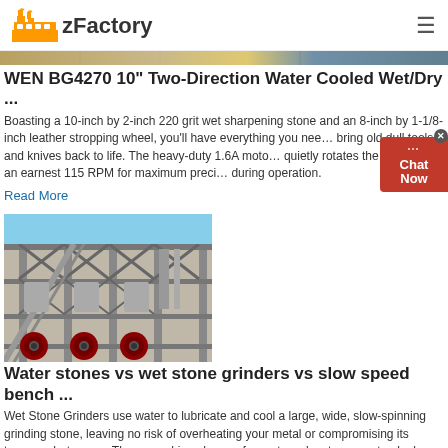zFactory
[Figure (photo): Partial image strip showing a grinding stone product at the top of the page]
WEN BG4270 10" Two-Direction Water Cooled Wet/Dry ...
Boasting a 10-inch by 2-inch 220 grit wet sharpening stone and an 8-inch by 1-1/8-inch leather stropping wheel, you'll have everything you need to bring old dull tools and knives back to life. The heavy-duty 1.6A motor quietly rotates the wheels at an earnest 115 RPM for maximum precision during operation.
Read More
[Figure (photo): Industrial factory or grinding plant with large mechanical equipment, red grinding wheels visible at the bottom, steel frame structure against blue sky]
Water stones vs wet stone grinders vs slow speed bench ...
Wet Stone Grinders use water to lubricate and cool a large, wide, slow-spinning grinding stone, leaving no risk of overheating your metal or compromising its temper whatsoever. These machines have a few extra-advantages: not only does the wider grinding stone simplify sharpening ...